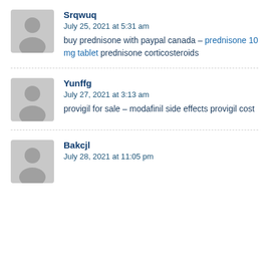[Figure (other): Gray avatar icon for user Srqwuq]
Srqwuq
July 25, 2021 at 5:31 am
buy prednisone with paypal canada – prednisone 10 mg tablet prednisone corticosteroids
[Figure (other): Gray avatar icon for user Yunffg]
Yunffg
July 27, 2021 at 3:13 am
provigil for sale – modafinil side effects provigil cost
[Figure (other): Gray avatar icon for user Bakcjl]
Bakcjl
July 28, 2021 at 11:05 pm